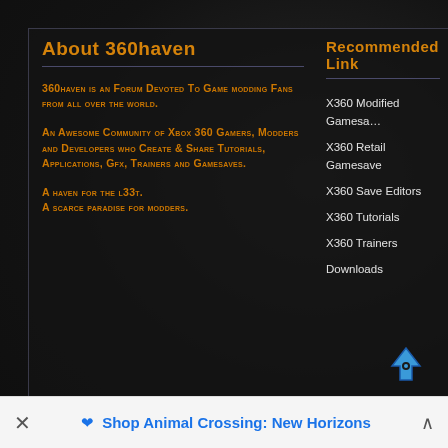About 360haven
360haven is an Forum Devoted To Game modding Fans from all over the world.
An Awesome Community of Xbox 360 Gamers, Modders and Developers who Create & Share Tutorials, Applications, Gfx, Trainers and Gamesaves.
A haven for the l33t. A scarce paradise for modders.
Recommended Links
X360 Modified Gamesave
X360 Retail Gamesave
X360 Save Editors
X360 Tutorials
X360 Trainers
Downloads
Shop Animal Crossing: New Horizons